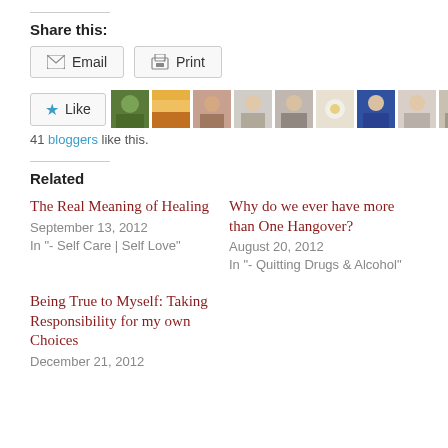Share this:
Email  Print
[Figure (infographic): Like button with star icon and a strip of 10 blogger avatar photos]
41 bloggers like this.
Related
The Real Meaning of Healing
September 13, 2012
In "- Self Care | Self Love"
Why do we ever have more than One Hangover?
August 20, 2012
In "- Quitting Drugs & Alcohol"
Being True to Myself: Taking Responsibility for my own Choices
December 21, 2012